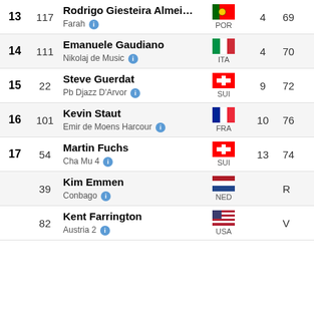| Rank | No | Rider / Horse | Country | Pts |  |
| --- | --- | --- | --- | --- | --- |
| 13 | 117 | Rodrigo Giesteira Almeida / Farah | POR | 4 | 69 |
| 14 | 111 | Emanuele Gaudiano / Nikolaj de Music | ITA | 4 | 70 |
| 15 | 22 | Steve Guerdat / Pb Djazz D'Arvor | SUI | 9 | 72 |
| 16 | 101 | Kevin Staut / Emir de Moens Harcour | FRA | 10 | 76 |
| 17 | 54 | Martin Fuchs / Cha Mu 4 | SUI | 13 | 74 |
|  | 39 | Kim Emmen / Conbago | NED |  | R |
|  | 82 | Kent Farrington / Austria 2 | USA |  | V |